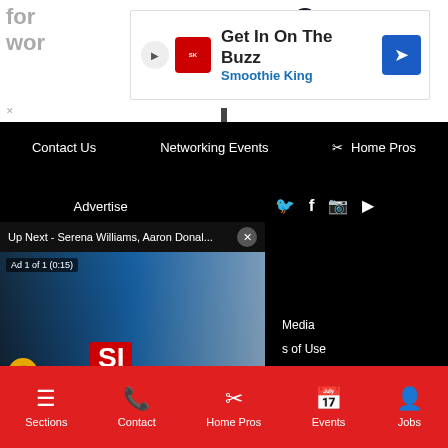[Figure (screenshot): Gray partial text 'for wor' visible at top left corner]
[Figure (screenshot): Smoothie King advertisement banner: 'Get In On The Buzz' with Smoothie King logo, play button, close X button, and blue arrow navigation button]
Contact Us
Networking Events
Home Pros
Advertise
[Figure (screenshot): Social media icons: Twitter bird, Facebook f, Instagram camera, YouTube play button]
[Figure (screenshot): Video player overlay: 'Up Next - Serena Williams, Aaron Donal...' with close X button, Ad 1 of 1 (0:15) indicator, mute button, SI FEED logo overlay, athletes photo background]
Media
s of Use
Sections  Contact  Home Pros  Events  Jobs